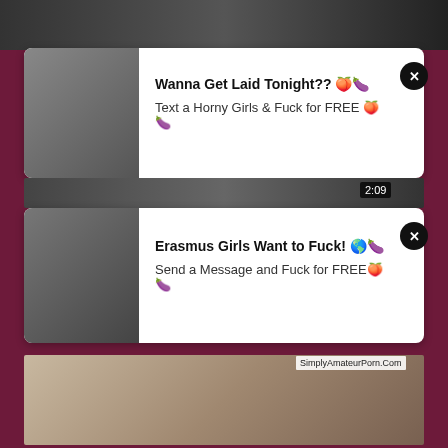[Figure (screenshot): Top video strip background]
[Figure (screenshot): Ad card 1 with female photo thumbnail]
Wanna Get Laid Tonight?? 🍑🍆
Text a Horny Girls & Fuck for FREE 🍑🍆
[Figure (screenshot): Video strip 2 with timer 2:09]
[Figure (screenshot): Ad card 2 with female photo thumbnail]
Erasmus Girls Want to Fuck! 🌎🍆
Send a Message and Fuck for FREE🍑🍆
[Figure (photo): Main video thumbnail of blonde woman, watermark: SimplyAmateurPorn.Com]